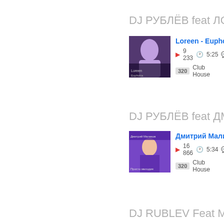DJ РУБЛЁВ feat LOREE...
[Figure (photo): Thumbnail of Loreen music video]
Loreen - Euphoria (Dj... ▶ 9 233  🕐 5:25  💬 8  | 320  Club House
DJ РУБЛЁВ feat ДМИТ...
[Figure (photo): Thumbnail of Дмитрий Маликов music video]
Дмитрий Маликов - П... ▶ 16 866  🕐 5:34  💬 3  | 320  Club House
DJ RUBLEV Feat Matre...
[Figure (photo): Thumbnail of Matreshka Girls avatar]
Matreshka Girls - А я н... ▶ 5 857  🕐 5:19  💬 3  | WAV  Club House, Electr...
MOSCOW CLUBBING...